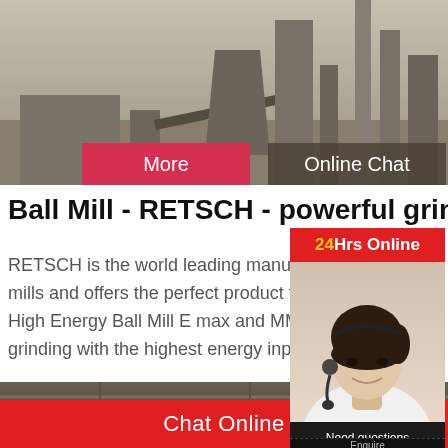[Figure (photo): Industrial facility with silos, towers, and conveyor belts — grayscale/sepia industrial scene]
More
Online Chat
Ball Mill - RETSCH - powerful grinding and
RETSCH is the world leading manufacturer of mills and offers the perfect product for each application. The High Energy Ball Mill E max and MM 500 were developed for grinding with the highest energy input. The in
[Figure (photo): Industrial warehouse or plant interior with roof beams visible — dark industrial scene]
24Hrs Online
[Figure (photo): Customer service representative wearing a headset — young Asian woman smiling]
Need questions & suggestion?
Chat Now
Chat Online
Enquire